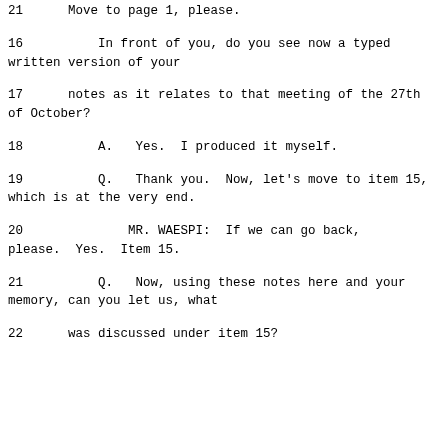21      Move to page 1, please.
16          In front of you, do you see now a typed written version of your
17      notes as it relates to that meeting of the 27th of October?
18          A.   Yes.  I produced it myself.
19          Q.   Thank you.  Now, let's move to item 15, which is at the very end.
20              MR. WAESPI:  If we can go back, please.  Yes.  Item 15.
21          Q.   Now, using these notes here and your memory, can you let us, what
22      was discussed under item 15?